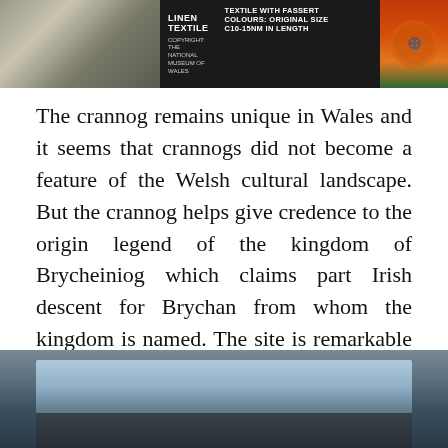[Figure (photo): Top strip showing archaeological artifacts including textile and decorated objects with labels: 'LINEN TEXTILE' and 'TEXTILE WITH FASSERT COLOURS: ORIGINAL SIZE C10-15NM IN LENGTH', credited to National Museum of Wales]
The crannog remains unique in Wales and it seems that crannogs did not become a feature of the Welsh cultural landscape. But the crannog helps give credence to the origin legend of the kingdom of Brycheiniog which claims part Irish descent for Brychan from whom the kingdom is named. The site is remarkable evidence of the genuine links with Ireland and the dramatic, but poorly recorded, history of the Viking Age in Wales.
[Figure (photo): Bottom partial image showing a body of water or lake scene with dark foreground silhouette, likely depicting the crannog site in Wales]